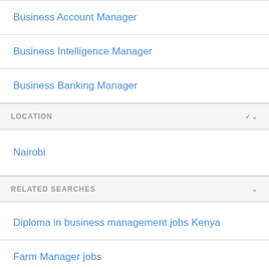Business Account Manager
Business Intelligence Manager
Business Banking Manager
LOCATION
Nairobi
RELATED SEARCHES
Diploma in business management jobs Kenya
Farm Manager jobs